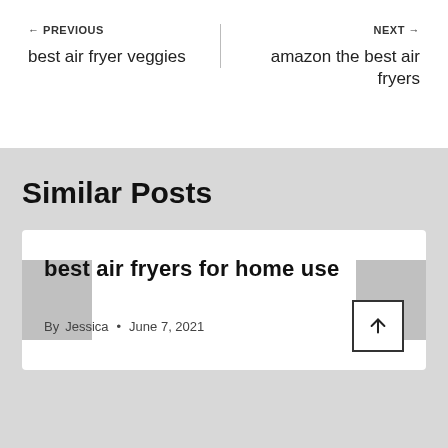← PREVIOUS
best air fryer veggies
NEXT →
amazon the best air fryers
Similar Posts
best air fryers for home use
By Jessica • June 7, 2021